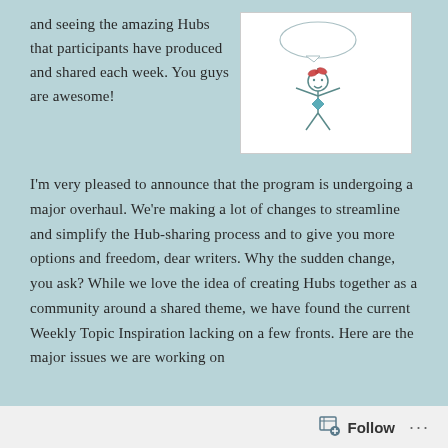and seeing the amazing Hubs that participants have produced and shared each week. You guys are awesome!
[Figure (illustration): A simple child-like line drawing of a stick figure girl with a bow in her hair, arms outstretched, with a speech bubble above and a small diamond shape below, on a white background.]
I'm very pleased to announce that the program is undergoing a major overhaul. We're making a lot of changes to streamline and simplify the Hub-sharing process and to give you more options and freedom, dear writers. Why the sudden change, you ask? While we love the idea of creating Hubs together as a community around a shared theme, we have found the current Weekly Topic Inspiration lacking on a few fronts. Here are the major issues we are working on
Follow ···